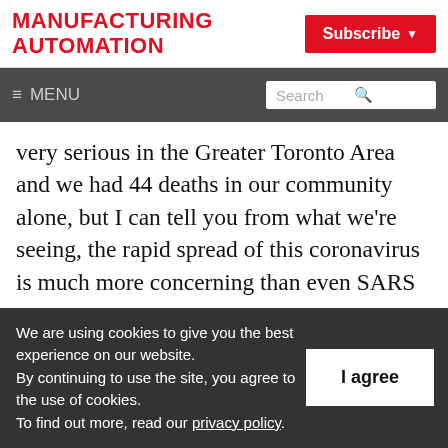MANUFACTURING AUTOMATION
Subscribe
≡ MENU  Search
very serious in the Greater Toronto Area and we had 44 deaths in our community alone, but I can tell you from what we're seeing, the rapid spread of this coronavirus is much more concerning than even SARS was.

Now, a lot of the lessons that we learned from
We are using cookies to give you the best experience on our website.
By continuing to use the site, you agree to the use of cookies.
To find out more, read our privacy policy.
I agree